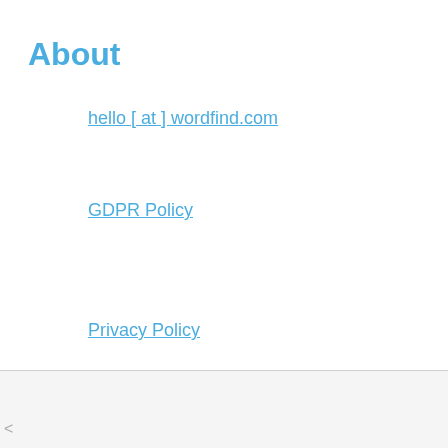About
hello [ at ] wordfind.com
GDPR Policy
Privacy Policy
© wordfind 20__ rights reserved
[Figure (other): Sponsored advertisement for Petco: Your One-Stop Summer Pet Shop]